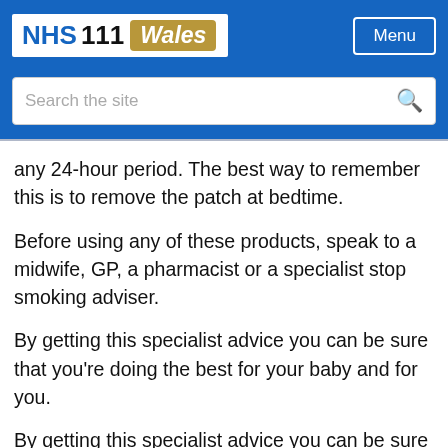NHS 111 Wales — Menu
any 24-hour period. The best way to remember this is to remove the patch at bedtime.
Before using any of these products, speak to a midwife, GP, a pharmacist or a specialist stop smoking adviser.
By getting this specialist advice you can be sure that you're doing the best for your baby and for you.
By getting this specialist advice you can be sure that you are doing the best for your baby and best for you. For more information, call Help Me Quit on 0800 085 2219.
Remember, you are twice as likely to be successful at